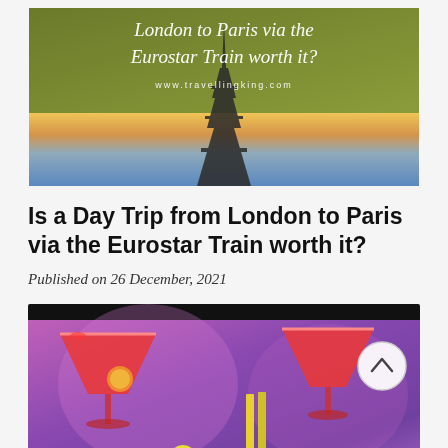[Figure (photo): Banner image showing the Eiffel Tower against a sunset sky with olive-green header overlay containing the article title in italic script and the website URL www.travellingking.com]
Is a Day Trip from London to Paris via the Eurostar Train worth it?
Published on 26 December, 2021
[Figure (photo): Photo of two red cocktails in martini glasses garnished with mint leaves and a lemon wedge on sticks, with a colorful purple and pink blurred background, with a white circular scroll-up button overlay in the upper right]